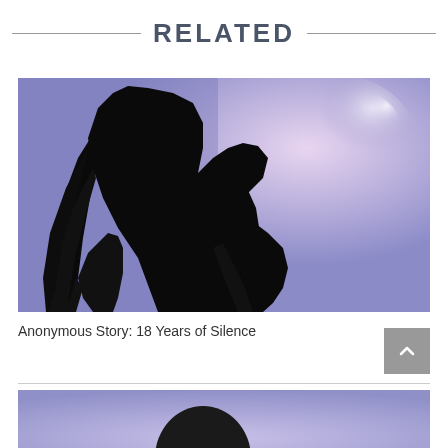RELATED
[Figure (photo): Silhouette of a woman with long hair against a purple/lavender blurred background with light bokeh effects]
Anonymous Story: 18 Years of Silence
[Figure (photo): Partial view of another image with purple background, partially visible at the bottom of the page]